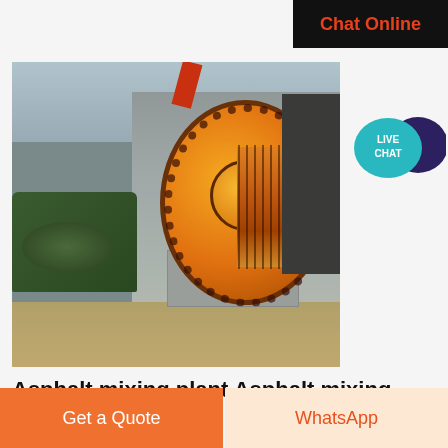[Figure (screenshot): Black bar with 'Chat Online' text in orange-red color, positioned top right]
[Figure (photo): Industrial asphalt mixing plant / ball mill machinery with large orange drum/gear mechanism mounted on concrete base, with green motor on left side]
[Figure (illustration): Live Chat badge with teal speech bubble and dark purple speech bubble, text 'LIVE CHAT' in white]
Asphalt mixing plant Asphalt mixing plant Products
Asphalt mixing plant find quality Asphalt mixing plant products Asphalt mixing plant Manufacturers Asphalt mixing plant Suppliers and Exporters at UDA
[Figure (screenshot): Bottom bar with two buttons: orange 'Get a Quote' button on left, light orange 'WhatsApp' button on right]